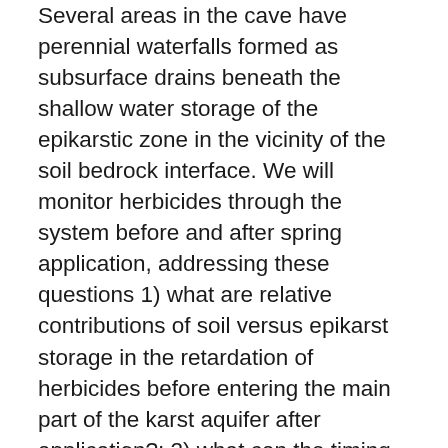Several areas in the cave have perennial waterfalls formed as subsurface drains beneath the shallow water storage of the epikarstic zone in the vicinity of the soil bedrock interface. We will monitor herbicides through the system before and after spring application, addressing these questions 1) what are relative contributions of soil versus epikarst storage in the retardation of herbicides before entering the main part of the karst aquifer after application?; 2) what can the timing and spatial distribution of movement of the related compounds explain about relationship between chemical properties and transport into and through the soil, epikarst, and the main part of the karst aquifer?; and 3) what is, and how do transport mechanisms impact, the critical loss period for herbicides through the karst